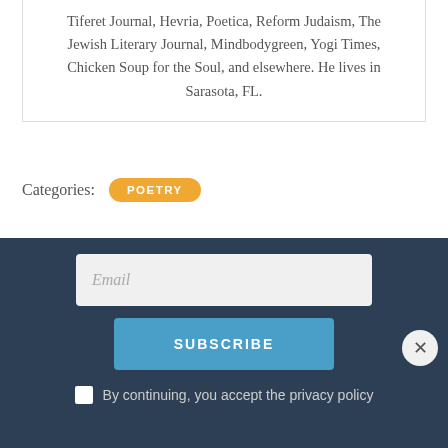Tiferet Journal, Hevria, Poetica, Reform Judaism, The Jewish Literary Journal, Mindbodygreen, Yogi Times, Chicken Soup for the Soul, and elsewhere. He lives in Sarasota, FL.
Categories: POETRY
RELATED POSTS
MORE FROM THIS AUTHOR
[Figure (photo): Dark red/maroon banner image strip with ruler-like markings]
Email
SUBSCRIBE
By continuing, you accept the privacy policy